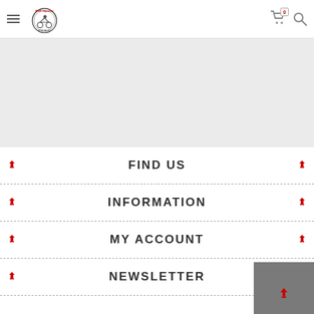Navigation header with hamburger menu, logo, cart icon (0), and search icon
[Figure (screenshot): Gray banner/hero area placeholder]
FIND US
INFORMATION
MY ACCOUNT
NEWSLETTER